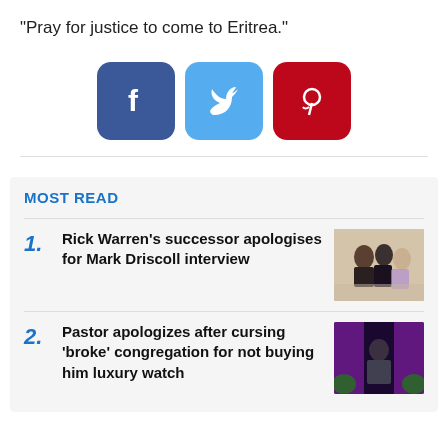"Pray for justice to come to Eritrea."
[Figure (infographic): Social media share buttons: Facebook (blue), Twitter (light blue), Pinterest (red)]
MOST READ
1. Rick Warren's successor apologises for Mark Driscoll interview
2. Pastor apologizes after cursing 'broke' congregation for not buying him luxury watch